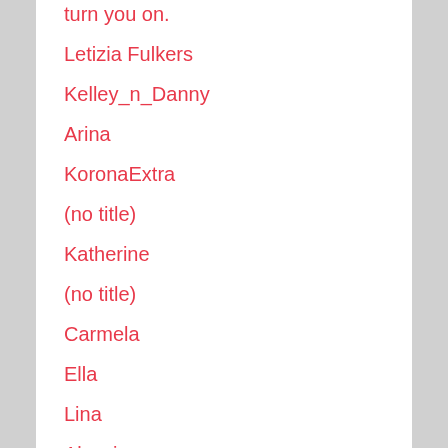turn you on.
Letizia Fulkers
Kelley_n_Danny
Arina
KoronaExtra
(no title)
Katherine
(no title)
Carmela
Ella
Lina
Alessia
♡, ELI ♡